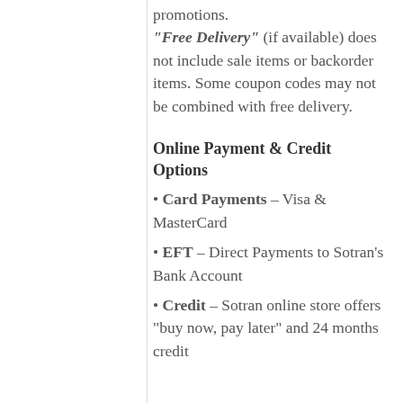promotions. "Free Delivery" (if available) does not include sale items or backorder items. Some coupon codes may not be combined with free delivery.
Online Payment & Credit Options
Card Payments – Visa & MasterCard
EFT – Direct Payments to Sotran's Bank Account
Credit – Sotran online store offers “buy now, pay later” and 24 months credit